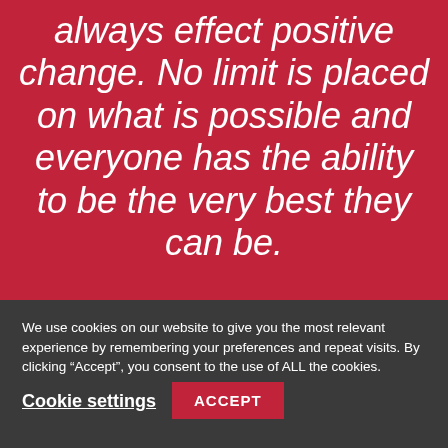always effect positive change. No limit is placed on what is possible and everyone has the ability to be the very best they can be.
We use cookies on our website to give you the most relevant experience by remembering your preferences and repeat visits. By clicking “Accept”, you consent to the use of ALL the cookies.
Cookie settings
ACCEPT